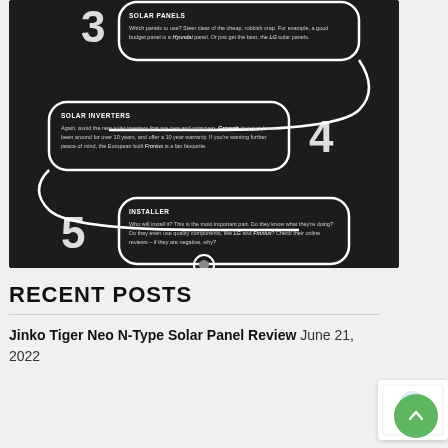[Figure (infographic): Dark-background infographic showing steps 3-6 of a solar installation guide. Step 3 (Solar Panels): steer clear of cheap rubbish panels, recommends Hyundai and LG. Step 4 (Solar Inverters): avoid new unproven inverters, recommends Growatt and Fronius. Step 5 (Installer): most important part, check they use quality components like LG and Fronius, check reviews. Step 6 (Bite the Bullet): pull the trigger once you have a quote from a solar business with great panels, reliable inverters, reputable company, good ROI — following Queensland Solar & Lighting's blueprint.]
RECENT POSTS
Jinko Tiger Neo N-Type Solar Panel Review June 21, 2022